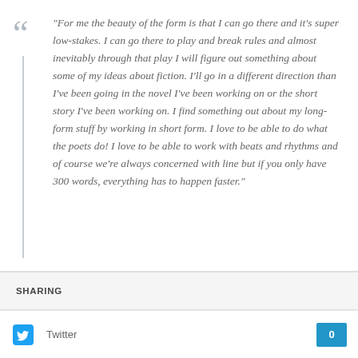“For me the beauty of the form is that I can go there and it’s super low-stakes. I can go there to play and break rules and almost inevitably through that play I will figure out something about some of my ideas about fiction. I’ll go in a different direction than I’ve been going in the novel I’ve been working on or the short story I’ve been working on. I find something out about my long-form stuff by working in short form. I love to be able to do what the poets do! I love to be able to work with beats and rhythms and of course we’re always concerned with line but if you only have 300 words, everything has to happen faster.”
SHARING
Twitter 0
Facebook 0